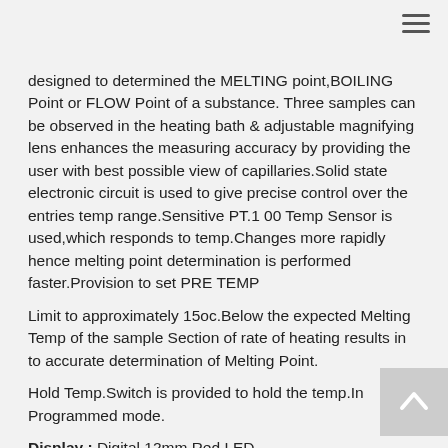designed to determined the MELTING point,BOILING Point or FLOW Point of a substance. Three samples can be observed in the heating bath & adjustable magnifying lens enhances the measuring accuracy by providing the user with best possible view of capillaries.Solid state electronic circuit is used to give precise control over the entries temp range.Sensitive PT.1 00 Temp Sensor is used,which responds to temp.Changes more rapidly hence melting point determination is performed faster.Provision to set PRE TEMP
Limit to approximately 15oc.Below the expected Melting Temp of the sample Section of rate of heating results in to accurate determination of Melting Point.
Hold Temp.Switch is provided to hold the temp.In Programmed mode.
Display : Digital 12mm Red LED
Tem Range : Up To 300 c